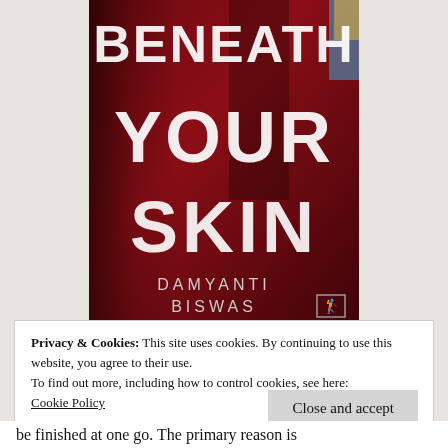[Figure (photo): Book cover of 'Beneath Your Skin' by Damyanti Biswas. Dark red/crimson background with large white distressed text reading 'BENEATH YOUR SKIN' and author name 'DAMYANTI BISWAS' below in smaller white text.]
Privacy & Cookies: This site uses cookies. By continuing to use this website, you agree to their use.
To find out more, including how to control cookies, see here:
Cookie Policy
Close and accept
be finished at one go. The primary reason is